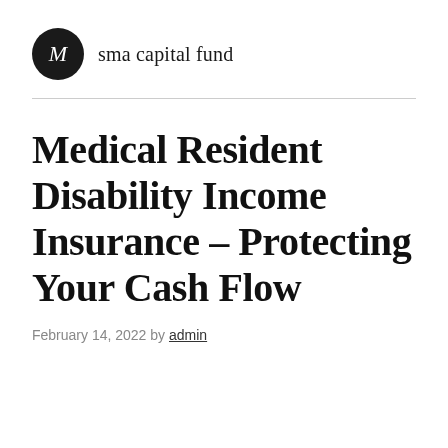M  sma capital fund
Medical Resident Disability Income Insurance – Protecting Your Cash Flow
February 14, 2022 by admin